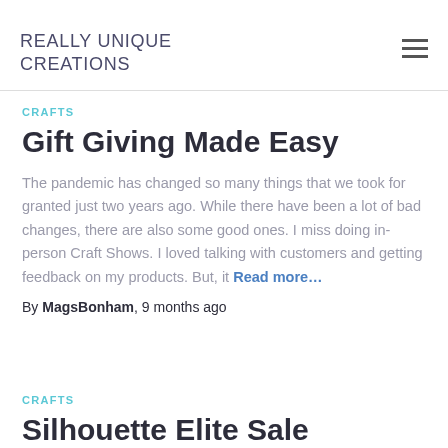REALLY UNIQUE CREATIONS
CRAFTS
Gift Giving Made Easy
The pandemic has changed so many things that we took for granted just two years ago. While there have been a lot of bad changes, there are also some good ones. I miss doing in-person Craft Shows. I loved talking with customers and getting feedback on my products. But, it Read more…
By MagsBonham, 9 months ago
CRAFTS
Silhouette Elite Sale